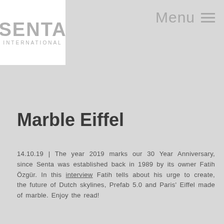Menu
[Figure (logo): Senta International logo — white background box with bold grey text SENTA and smaller grey text INTERNATIONAL below]
Marble Eiffel
14.10.19 | The year 2019 marks our 30 Year Anniversary, since Senta was established back in 1989 by its owner Fatih Özgür. In this interview Fatih tells about his urge to create, the future of Dutch skylines, Prefab 5.0 and Paris' Eiffel made of marble. Enjoy the read!